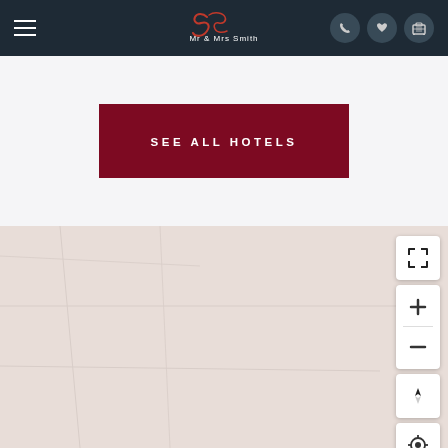[Figure (screenshot): Mr & Mrs Smith hotel website navigation bar with hamburger menu, script logo, and icons for phone, heart, and luggage]
SEE ALL HOTELS
[Figure (map): A beige/tan colored map area with zoom controls, expand button, compass/orientation button, and location button on the right side]